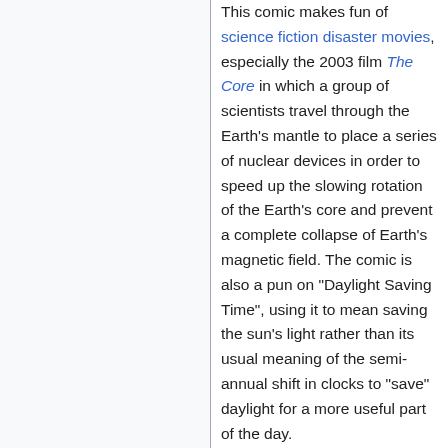This comic makes fun of science fiction disaster movies, especially the 2003 film The Core in which a group of scientists travel through the Earth's mantle to place a series of nuclear devices in order to speed up the slowing rotation of the Earth's core and prevent a complete collapse of Earth's magnetic field. The comic is also a pun on "Daylight Saving Time", using it to mean saving the sun's light rather than its usual meaning of the semi-annual shift in clocks to "save" daylight for a more useful part of the day.
This comic presents the next film from the makers of The Core. In this case an astronomer, Ponytail, discovers that the Sun's fusion is